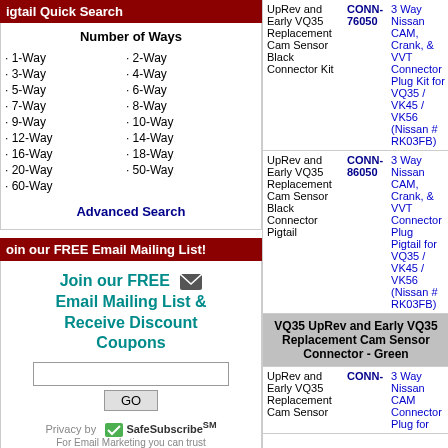igtail Quick Search
Number of Ways · 1-Way · 2-Way · 3-Way · 4-Way · 5-Way · 6-Way · 7-Way · 8-Way · 9-Way · 10-Way · 12-Way · 14-Way · 16-Way · 18-Way · 20-Way · 50-Way · 60-Way
Advanced Search
oin our FREE Email Mailing List!
Join our FREE Email Mailing List & Receive Discount Coupons
onnect With Us...
[Figure (infographic): Social media icons: Facebook, YouTube, Instagram, Twitter, LinkedIn]
| Description | Part# | Product Name |
| --- | --- | --- |
| UpRev and Early VQ35 Replacement Cam Sensor Black Connector Kit | CONN-76050 | 3 Way Nissan CAM, Crank, & VVT Connector Plug Kit for VQ35 / VK45 / VK56 (Nissan # RK03FB) |
| UpRev and Early VQ35 Replacement Cam Sensor Black Connector Pigtail | CONN-86050 | 3 Way Nissan CAM, Crank, & VVT Connector Plug Pigtail for VQ35 / VK45 / VK56 (Nissan # RK03FB) |
| VQ35 UpRev and Early VQ35 Replacement Cam Sensor Connector - Green |  |  |
| UpRev and Early VQ35 Replacement Cam Sensor | CONN- | 3 Way Nissan CAM Connector Plug for |